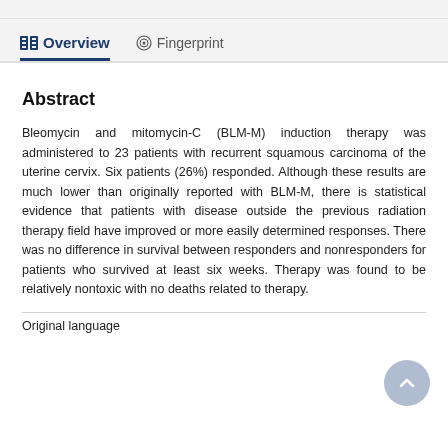Overview   Fingerprint
Abstract
Bleomycin and mitomycin-C (BLM-M) induction therapy was administered to 23 patients with recurrent squamous carcinoma of the uterine cervix. Six patients (26%) responded. Although these results are much lower than originally reported with BLM-M, there is statistical evidence that patients with disease outside the previous radiation therapy field have improved or more easily determined responses. There was no difference in survival between responders and nonresponders for patients who survived at least six weeks. Therapy was found to be relatively nontoxic with no deaths related to therapy.
Original language